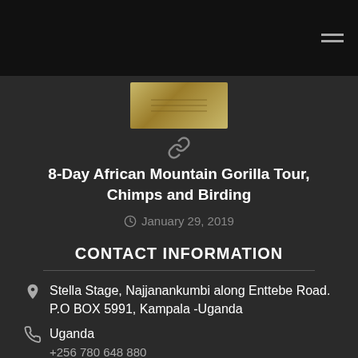[Figure (illustration): Dark navigation bar with hamburger menu icon at top right]
[Figure (photo): Small thumbnail image with golden/brown tones, possibly a tour or nature image]
8-Day African Mountain Gorilla Tour, Chimps and Birding
January 29, 2019
CONTACT INFORMATION
Stella Stage, Najjanankumbi along Enttebe Road. P.O BOX 5991, Kampala -Uganda
Uganda
+256 780 648 880
USA